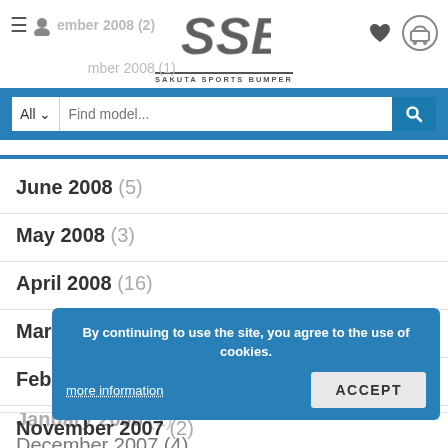Sakuta Sports Bumper — navigation header with logo and search bar
June 2008 (5)
May 2008 (3)
April 2008 (16)
March 2008 (10)
February 2008 (8)
January 2008 (1)
December 2007 (4)
November 2007 (2)
By continuing to use the site, you agree to the use of cookies. more information ACCEPT